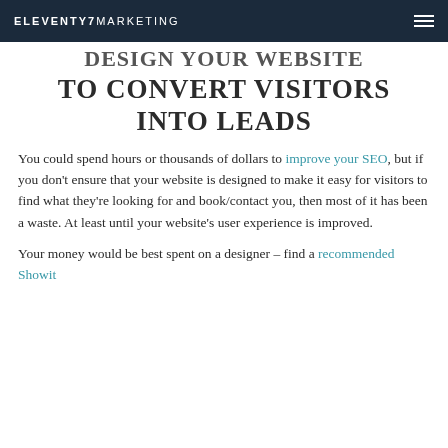ELEVENTY7 MARKETING
DESIGN YOUR WEBSITE TO CONVERT VISITORS INTO LEADS
You could spend hours or thousands of dollars to improve your SEO, but if you don't ensure that your website is designed to make it easy for visitors to find what they're looking for and book/contact you, then most of it has been a waste. At least until your website's user experience is improved.
Your money would be best spent on a designer – find a recommended Showit